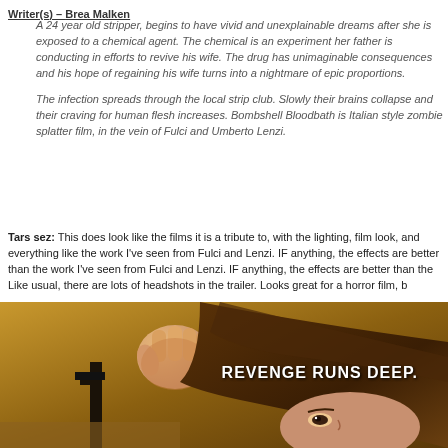Writer(s) – Brea Malken
A 24 year old stripper, begins to have vivid and unexplainable dreams after she is exposed to a chemical agent. The chemical is an experiment her father is conducting in efforts to revive his wife. The drug has unimaginable consequences and his hope of regaining his wife turns into a nightmare of epic proportions.

The infection spreads through the local strip club. Slowly their brains collapse and their craving for human flesh increases. Bombshell Bloodbath is Italian style zombie splatter film, in the vein of Fulci and Umberto Lenzi.
Tars sez: This does look like the films it is a tribute to, with the lighting, film look, and everything like the work I've seen from Fulci and Lenzi. IF anything, the effects are better than the originals sometimes. Like usual, there are lots of headshots in the trailer. Looks great for a horror film, b
[Figure (photo): Movie poster image showing a woman holding a gun pointed at the viewer, with brown hair partially visible, against a warm golden/brown toned background. White bold text reads 'REVENGE RUNS DEEP.']